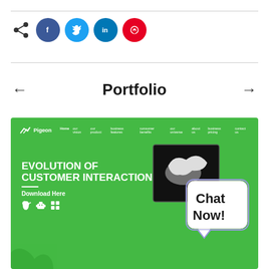[Figure (infographic): Social sharing bar with share icon, Facebook, Twitter, LinkedIn, Pinterest circular buttons]
Portfolio
[Figure (screenshot): Screenshot of the Pigeon website homepage featuring green background, navigation bar, 'EVOLUTION OF CUSTOMER INTERACTION' hero text, Download Here with app icons, a device showing a pigeon bird image, and a 'Chat Now!' speech bubble]